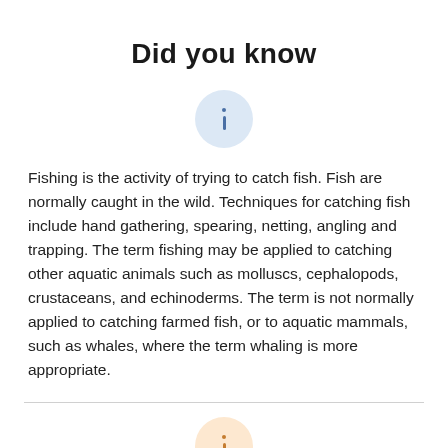Did you know
[Figure (illustration): Blue circle with an info icon (i) centered inside]
Fishing is the activity of trying to catch fish. Fish are normally caught in the wild. Techniques for catching fish include hand gathering, spearing, netting, angling and trapping. The term fishing may be applied to catching other aquatic animals such as molluscs, cephalopods, crustaceans, and echinoderms. The term is not normally applied to catching farmed fish, or to aquatic mammals, such as whales, where the term whaling is more appropriate.
[Figure (illustration): Orange/peach circle with an info icon (i) centered inside]
A fish is any member of a paraphyletic group of organisms